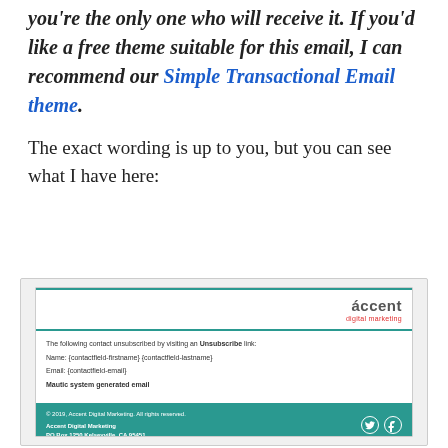you're the only one who will receive it. If you'd like a free theme suitable for this email, I can recommend our Simple Transactional Email theme.
The exact wording is up to you, but you can see what I have here:
[Figure (screenshot): Screenshot of an email template from Accent Digital Marketing showing an unsubscribe notification email with contact field placeholders, a teal footer with copyright notice and social media icons.]